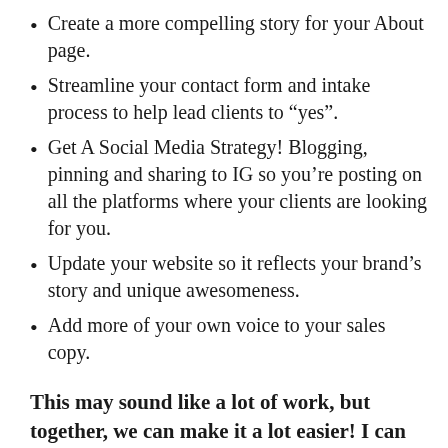Create a more compelling story for your About page.
Streamline your contact form and intake process to help lead clients to “yes”.
Get A Social Media Strategy! Blogging, pinning and sharing to IG so you’re posting on all the platforms where your clients are looking for you.
Update your website so it reflects your brand’s story and unique awesomeness.
Add more of your own voice to your sales copy.
This may sound like a lot of work, but together, we can make it a lot easier! I can